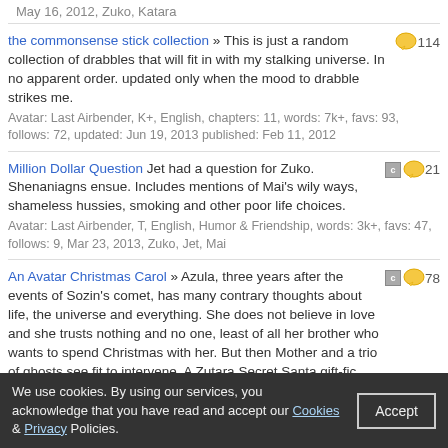May 16, 2012, Zuko, Katara
the commonsense stick collection » This is just a random collection of drabbles that will fit in with my stalking universe. In no apparent order. updated only when the mood to drabble strikes me. Avatar: Last Airbender, K+, English, chapters: 11, words: 7k+, favs: 93, follows: 72, updated: Jun 19, 2013 published: Feb 11, 2012 [114 comments]
Million Dollar Question Jet had a question for Zuko. Shenaniagns ensue. Includes mentions of Mai's wily ways, shameless hussies, smoking and other poor life choices. Avatar: Last Airbender, T, English, Humor & Friendship, words: 3k+, favs: 47, follows: 9, Mar 23, 2013, Zuko, Jet, Mai [c][21 comments]
An Avatar Christmas Carol » Azula, three years after the events of Sozin's comet, has many contrary thoughts about life, the universe and everything. She does not believe in love and she trusts nothing and no one, least of all her brother who wants to spend Christmas with her. But then Mother and a trio of ghosts see fit to intervene. A Zutara Secret Santa gift-fic. Avatar: Last Airbender, T, English, Family & Romance, chapters: 5, words: 32k+, favs: 110, follows: 35, updated: Dec 24, 2012 published: Dec 14, 2012, Azula, Zuko [c][78 comments]
Zutara month drabbles » What it says on the tin lovelies. Avatar: Last Airbender, K+, English, Humor & Romance, chapters: 9, words: 3k+, favs: 50, follows: 29, updated: Dec 9, 2012 published: Dec 1, [94 comments]
We use cookies. By using our services, you acknowledge that you have read and accept our Cookies & Privacy Policies.